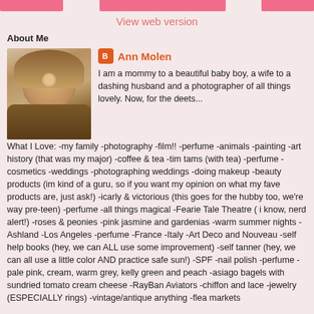View web version
About Me
[Figure (photo): Profile photo of Ann Molen, a woman with long wavy hair outdoors]
Ann Molen
I am a mommy to a beautiful baby boy, a wife to a dashing husband and a photographer of all things lovely. Now, for the deets... What I Love: -my family -photography -film!! -perfume -animals -painting -art history (that was my major) -coffee & tea -tim tams (with tea) -perfume -cosmetics -weddings -photographing weddings -doing makeup -beauty products (im kind of a guru, so if you want my opinion on what my fave products are, just ask!) -icarly & victorious (this goes for the hubby too, we're way pre-teen) -perfume -all things magical -Fearie Tale Theatre ( i know, nerd alert!) -roses & peonies -pink jasmine and gardenias -warm summer nights -Ashland -Los Angeles -perfume -France -Italy -Art Deco and Nouveau -self help books (hey, we can ALL use some improvement) -self tanner (hey, we can all use a little color AND practice safe sun!) -SPF -nail polish -perfume -pale pink, cream, warm grey, kelly green and peach -asiago bagels with sundried tomato cream cheese -RayBan Aviators -chiffon and lace -jewelry (ESPECIALLY rings) -vintage/antique anything -flea markets